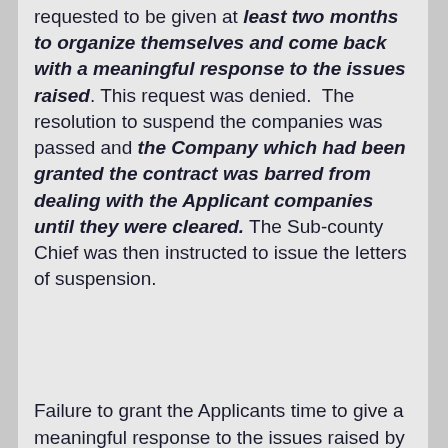requested to be given at least two months to organize themselves and come back with a meaningful response to the issues raised. This request was denied. The resolution to suspend the companies was passed and the Company which had been granted the contract was barred from dealing with the Applicant companies until they were cleared. The Sub-county Chief was then instructed to issue the letters of suspension.
Failure to grant the Applicants time to give a meaningful response to the issues raised by the Sub-county Committee before passing the resolution to suspend them amounted to failure to observe the rules of natural justice. There was procedural unfairness on the part of the